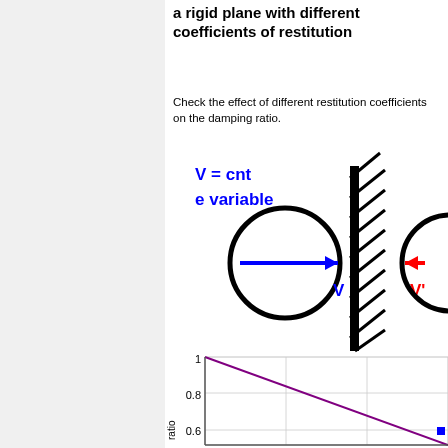Vector impact of a sphere against a rigid plane with different coefficients of restitution
Check the effect of different restitution coefficients on the damping ratio.
[Figure (engineering-diagram): Diagram showing a sphere approaching a rigid hatched wall with velocity V (blue arrow pointing right), and bouncing back with velocity V' (red arrow pointing left). Labels: V = cnt, e variable in blue.]
[Figure (continuous-plot): Partial view of a line chart with y-axis labeled 'ratio', y-axis ticks at 0.6, 0.8, 1. Shows lines plotted, with one data point visible as blue filled square near y=0.6 at right edge.]